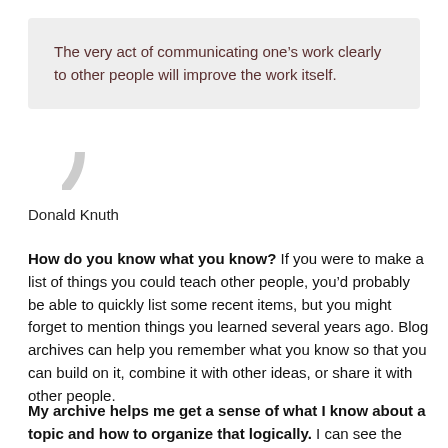The very act of communicating one’s work clearly to other people will improve the work itself.
Donald Knuth
How do you know what you know? If you were to make a list of things you could teach other people, you’d probably be able to quickly list some recent items, but you might forget to mention things you learned several years ago. Blog archives can help you remember what you know so that you can build on it, combine it with other ideas, or share it with other people.
My archive helps me get a sense of what I know about a topic and how to organize that logically. I can see the